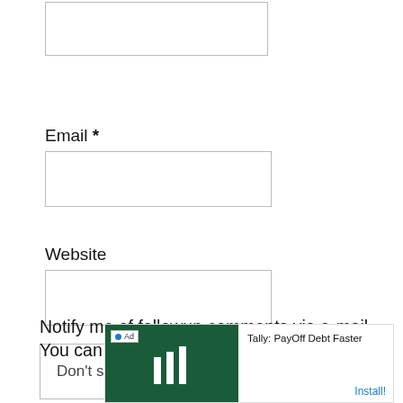[Figure (screenshot): Empty text input box (top, partially visible)]
Email *
[Figure (screenshot): Empty text input box for Email field]
Website
[Figure (screenshot): Empty text input box for Website field]
[Figure (screenshot): Dropdown selector showing 'Don't subscribe' with chevron arrow]
Notify me of followup comments via e-mail. You can also subscribe without commenting.
[Figure (screenshot): Advertisement banner: Tally: PayOff Debt Faster, with Install! link]